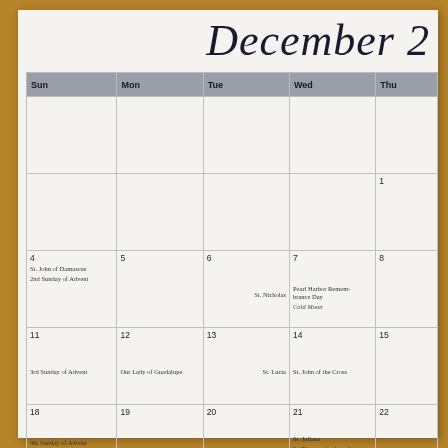December 2
| Sun | Mon | Tue | Wed | Thu |
| --- | --- | --- | --- | --- |
|  |  |  |  |  |
|  |  |  |  | 1 |
| 4
St. John of Damascus
2nd Sunday of Advent | 5 | 6
St. Nicholas | 7
Pearl Harbor Remembrance Day
Cold Moon | 8 |
| 11
3rd Sunday of Advent | 12
Our Lady of Guadalupe | 13
St. Lucia | 14
St. John of the Cross | 15 |
| 18
4th Sunday of Advent
Hanukkah begins | 19 | 20 | 21
St. Juliana
St. Thomas the Apostle | 22 |